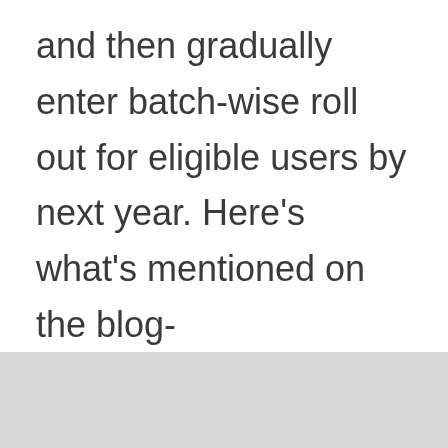and then gradually enter batch-wise roll out for eligible users by next year. Here's what's mentioned on the blog-